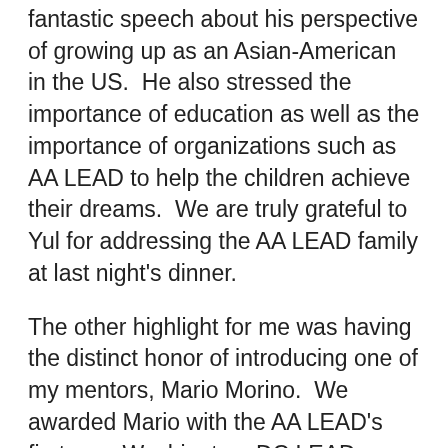fantastic speech about his perspective of growing up as an Asian-American in the US.  He also stressed the importance of education as well as the importance of organizations such as AA LEAD to help the children achieve their dreams.  We are truly grateful to Yul for addressing the AA LEAD family at last night's dinner.
The other highlight for me was having the distinct honor of introducing one of my mentors, Mario Morino.  We awarded Mario with the AA LEAD's first ever Washington, DC LEADer award.  There is no one more deserving.  Mario is the Godfather of Philanthropy for the greater Washington DC region.  He is clearly one of the great Washingtonians of the past 3 decades.  His Venture Philanthropy Partners organizations has helped over 10 of the leading non-profits in the DC